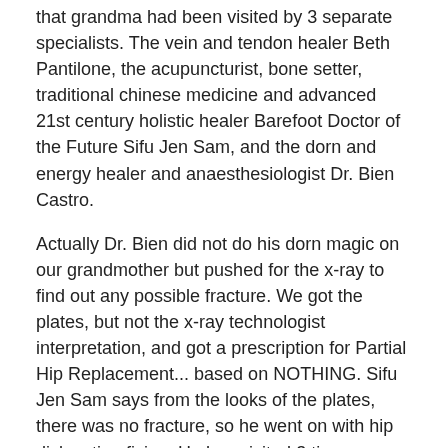that grandma had been visited by 3 separate specialists. The vein and tendon healer Beth Pantilone, the acupuncturist, bone setter, traditional chinese medicine and advanced 21st century holistic healer Barefoot Doctor of the Future Sifu Jen Sam, and the dorn and energy healer and anaesthesiologist Dr. Bien Castro.
Actually Dr. Bien did not do his dorn magic on our grandmother but pushed for the x-ray to find out any possible fracture. We got the plates, but not the x-ray technologist interpretation, and got a prescription for Partial Hip Replacement... based on NOTHING. Sifu Jen Sam says from the looks of the plates, there was no fracture, so he went on with hip dislocation fixing. He has visited 3 times.
The vein and tendon healer Beth Pantilone had also visited grandma 4 times. Today she says grandma's veins are in order. She is now working on her tendons / “litid” in tagalog. She feels only 3 more visits by her and she will be able to walk again.